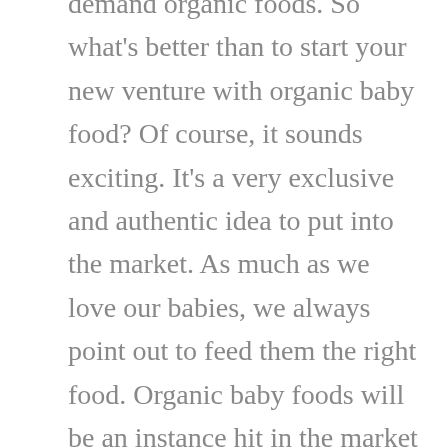demand organic foods. So what's better than to start your new venture with organic baby food? Of course, it sounds exciting. It's a very exclusive and authentic idea to put into the market. As much as we love our babies, we always point out to feed them the right food. Organic baby foods will be an instance hit in the market in very less time. Since it is lesser known, organic baby food is not very globally renowned but surely will be one in upcoming years and prove it to be your best decision to choose